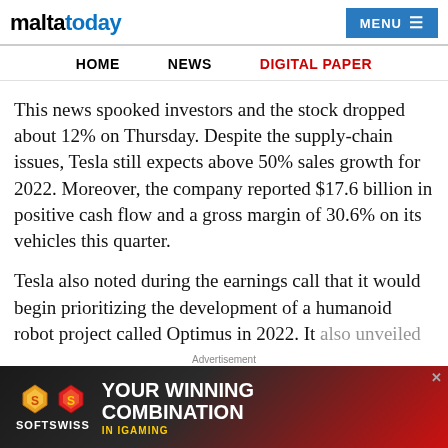maltatoday | MENU
HOME  NEWS  DIGITAL PAPER
This news spooked investors and the stock dropped about 12% on Thursday.  Despite the supply-chain issues, Tesla still expects above 50% sales growth for 2022.  Moreover, the company reported $17.6 billion in positive cash flow and a gross margin of 30.6% on its vehicles this quarter.
Tesla also noted during the earnings call that it would begin prioritizing the development of a humanoid robot project called Optimus in 2022.  It also unveiled a fleet of the “Tesla Semi” electric trucks and confirmed that production of the Model Y cars
[Figure (other): SOFTSWISS advertisement banner with golden and red diamond icons and text 'YOUR WINNING COMBINATION IN IGAMING']